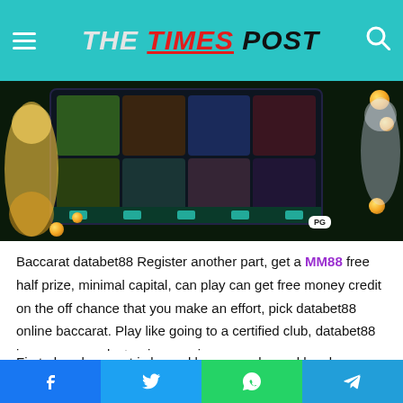THE TIMES POST
[Figure (screenshot): Online casino/slot game promotional banner with animated characters and game thumbnails]
Baccarat databet88 Register another part, get a MM88 free half prize, minimal capital, can play can get free money credit on the off chance that you make an effort, pick databet88 online baccarat. Play like going to a certified club, databet88 is seen as an electronic wagering game camp.
First-class baccarat is by and large popular and has been seen as a gaming camp that offers the best live club betting on
Facebook | Twitter | WhatsApp | Telegram